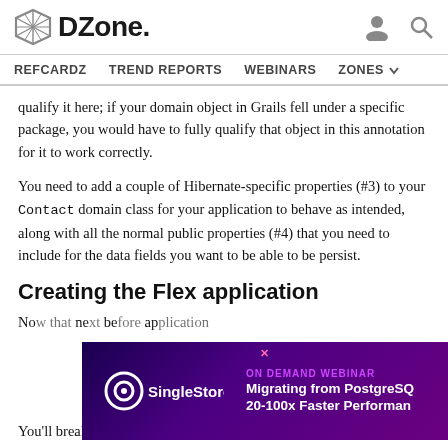DZone | REFCARDZ  TREND REPORTS  WEBINARS  ZONES
qualify it here; if your domain object in Grails fell under a specific package, you would have to fully qualify that object in this annotation for it to work correctly.
You need to add a couple of Hibernate-specific properties (#3) to your Contact domain class for your application to behave as intended, along with all the normal public properties (#4) that you need to include for the data fields you want to be able to be persist.
Creating the Flex application
No... need... be... ap...
[Figure (screenshot): Advertisement banner for SingleStore on-demand webinar: Migrating from PostgreSQL 20-100x Faster Performance]
You'll break this down into bite-sized chunks that should be easier to